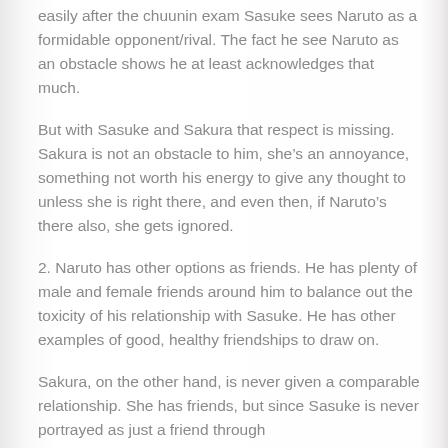easily after the chuunin exam Sasuke sees Naruto as a formidable opponent/rival. The fact he see Naruto as an obstacle shows he at least acknowledges that much.
But with Sasuke and Sakura that respect is missing. Sakura is not an obstacle to him, she's an annoyance, something not worth his energy to give any thought to unless she is right there, and even then, if Naruto's there also, she gets ignored.
2. Naruto has other options as friends. He has plenty of male and female friends around him to balance out the toxicity of his relationship with Sasuke. He has other examples of good, healthy friendships to draw on.
Sakura, on the other hand, is never given a comparable relationship. She has friends, but since Sasuke is never portrayed as just a friend through her and that she has no equally close male friend